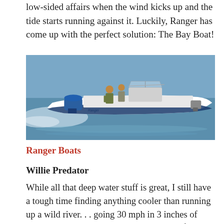low-sided affairs when the wind kicks up and the tide starts running against it. Luckily, Ranger has come up with the perfect solution: The Bay Boat!
[Figure (photo): A white Ranger bay boat with two people aboard speeding across blue water, outboard motor visible at rear left, center console with windshield, low profile hull with blue stripe.]
Ranger Boats
Willie Predator
While all that deep water stuff is great, I still have a tough time finding anything cooler than running up a wild river. . . going 30 mph in 3 inches of water. And really the only way to do river fishing right is to fish out of a tiller boat like